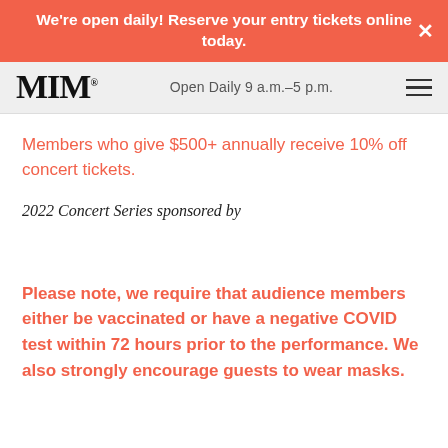We're open daily! Reserve your entry tickets online today.
MIM  Open Daily 9 a.m.–5 p.m.
Members who give $500+ annually receive 10% off concert tickets.
2022 Concert Series sponsored by
Please note, we require that audience members either be vaccinated or have a negative COVID test within 72 hours prior to the performance. We also strongly encourage guests to wear masks.